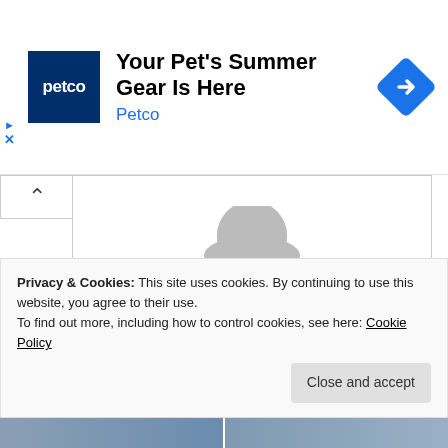[Figure (screenshot): Petco advertisement banner with logo, headline 'Your Pet's Summer Gear Is Here', brand name 'Petco' in blue, and a blue diamond navigation arrow icon on the right.]
Press Trust of India
Facebook
Twitter
WhatsApp
Email
Print
Privacy & Cookies: This site uses cookies. By continuing to use this website, you agree to their use.
To find out more, including how to control cookies, see here: Cookie Policy
Close and accept